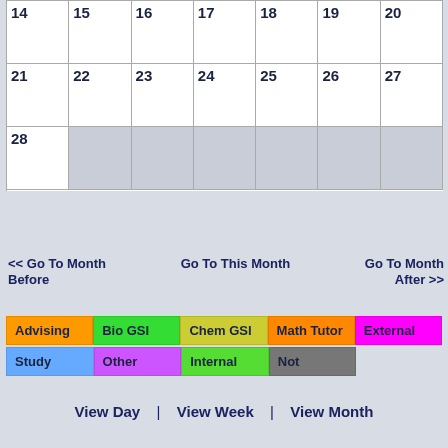| 14 | 15 | 16 | 17 | 18 | 19 | 20 |
| --- | --- | --- | --- | --- | --- | --- |
|  |  |  |  |  |  |  |
| 21 | 22 | 23 | 24 | 25 | 26 | 27 |
| --- | --- | --- | --- | --- | --- | --- |
|  |  |  |  |  |  |  |
| 28 |  |  |  |  |  |  |
| --- | --- | --- | --- | --- | --- | --- |
|  |  |  |  |  |  |  |
<< Go To Month Before
Go To This Month
Go To Month After >>
Advising | Bio GSI | Chem GSI | Math Tutor | External | Study | Other | Internal | Not
View Day | View Week | View Month